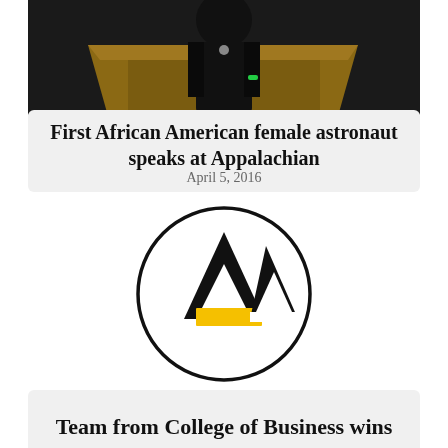[Figure (photo): Photo of a person in academic regalia at a podium/lectern, cropped to show upper torso and background]
First African American female astronaut speaks at Appalachian
April 5, 2016
[Figure (logo): Appalachian State University logo: circular border with stylized mountain/letter A mark in black and gold/yellow]
Team from College of Business wins